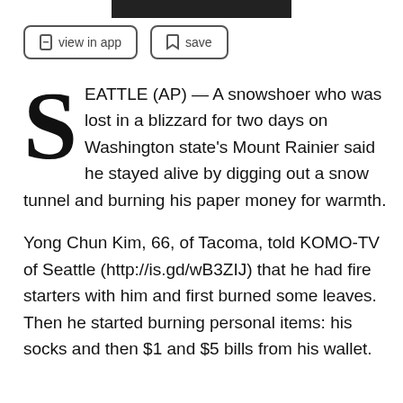[Figure (other): Black top bar/header image]
view in app   save
SEATTLE (AP) — A snowshoer who was lost in a blizzard for two days on Washington state's Mount Rainier said he stayed alive by digging out a snow tunnel and burning his paper money for warmth.
Yong Chun Kim, 66, of Tacoma, told KOMO-TV of Seattle (http://is.gd/wB3ZIJ) that he had fire starters with him and first burned some leaves. Then he started burning personal items: his socks and then $1 and $5 bills from his wallet.